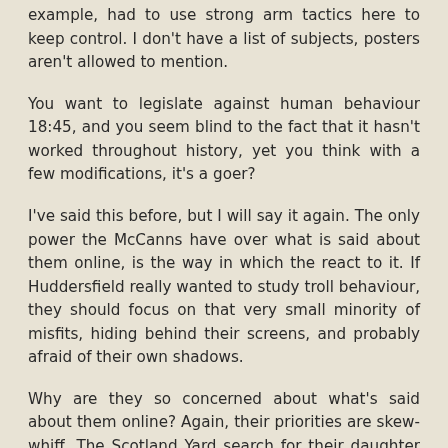example, had to use strong arm tactics here to keep control. I don't have a list of subjects, posters aren't allowed to mention.
You want to legislate against human behaviour 18:45, and you seem blind to the fact that it hasn't worked throughout history, yet you think with a few modifications, it's a goer?
I've said this before, but I will say it again. The only power the McCanns have over what is said about them online, is the way in which the react to it. If Huddersfield really wanted to study troll behaviour, they should focus on that very small minority of misfits, hiding behind their screens, and probably afraid of their own shadows.
Why are they so concerned about what's said about them online? Again, their priorities are skew-whiff. The Scotland Yard search for their daughter is due to come to an end with no sign of a result, trolls surely, should be the least of